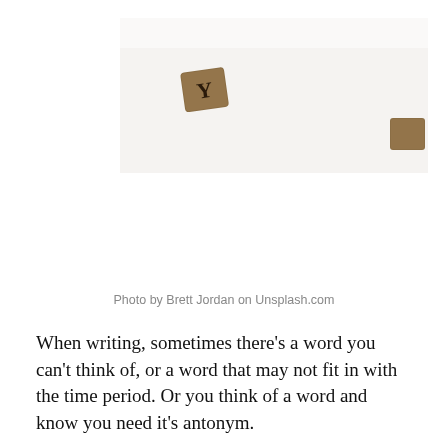[Figure (photo): Photograph of wooden Scrabble letter tiles on a white background. A tile with the letter Y is visible in the foreground, and a partial tile is visible at the right edge.]
Photo by Brett Jordan on Unsplash.com
When writing, sometimes there's a word you can't think of, or a word that may not fit in with the time period. Or you think of a word and know you need it's antonym.